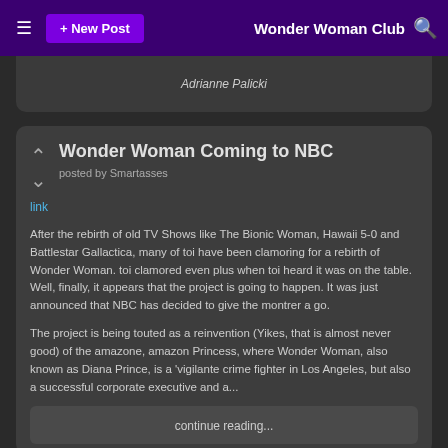≡  + New Post    Wonder Woman Club  🔍
Adrianne Palicki
Wonder Woman Coming to NBC
posted by Smartasses
link
After the rebirth of old TV Shows like The Bionic Woman, Hawaii 5-0 and Battlestar Gallactica, many of toi have been clamoring for a rebirth of Wonder Woman. toi clamored even plus when toi heard it was on the table. Well, finally, it appears that the project is going to happen. It was just announced that NBC has decided to give the montrer a go.
The project is being touted as a reinvention (Yikes, that is almost never good) of the amazone, amazon Princess, where Wonder Woman, also known as Diana Prince, is a 'vigilante crime fighter in Los Angeles, but also a successful corporate executive and a...
continue reading...